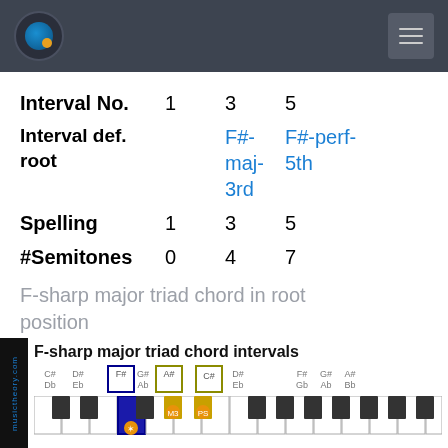musictheory.com
|  | 1 | 3 | 5 |
| --- | --- | --- | --- |
| Interval No. | 1 | 3 | 5 |
| Interval def. | root | F#-maj-3rd | F#-perf-5th |
| Spelling | 1 | 3 | 5 |
| #Semitones | 0 | 4 | 7 |
F-sharp major triad chord in root position
The piano diagram below shows the interval short names, the note positions and the final note names of this triad chord.
[Figure (illustration): F-sharp major triad chord intervals piano diagram showing keys C# Db, D# Eb, F# (root, marked with star), G# Ab, A# (M3), C# (PS), D# Eb, F# G# A# Gb Ab Bb with highlighted keys and interval labels]